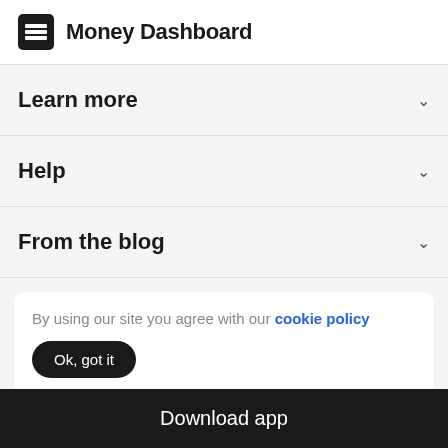Money Dashboard
Learn more
Help
From the blog
By using our site you agree with our cookie policy
Ok, got it
Privacy Policy
Download app